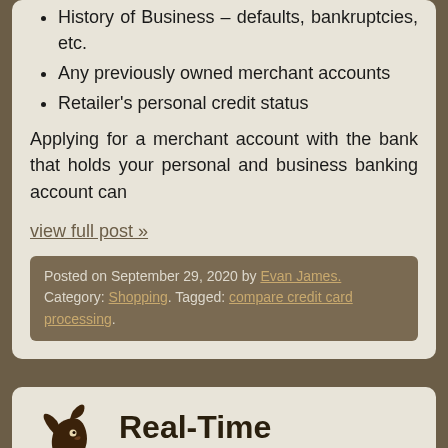History of Business – defaults, bankruptcies, etc.
Any previously owned merchant accounts
Retailer's personal credit status
Applying for a merchant account with the bank that holds your personal and business banking account can
view full post »
Posted on September 29, 2020 by Evan James. Category: Shopping. Tagged: compare credit card processing.
Real-Time Payments: